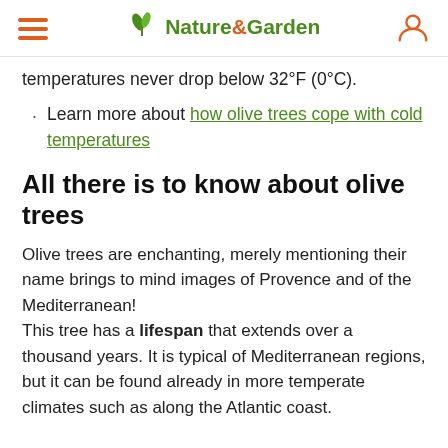Nature & Garden
temperatures never drop below 32°F (0°C).
Learn more about how olive trees cope with cold temperatures
All there is to know about olive trees
Olive trees are enchanting, merely mentioning their name brings to mind images of Provence and of the Mediterranean!
This tree has a lifespan that extends over a thousand years. It is typical of Mediterranean regions, but it can be found already in more temperate climates such as along the Atlantic coast.